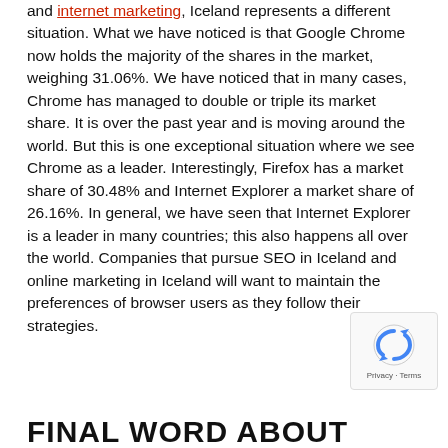and internet marketing, Iceland represents a different situation. What we have noticed is that Google Chrome now holds the majority of the shares in the market, weighing 31.06%. We have noticed that in many cases, Chrome has managed to double or triple its market share. It is over the past year and is moving around the world. But this is one exceptional situation where we see Chrome as a leader. Interestingly, Firefox has a market share of 30.48% and Internet Explorer a market share of 26.16%. In general, we have seen that Internet Explorer is a leader in many countries; this also happens all over the world. Companies that pursue SEO in Iceland and online marketing in Iceland will want to maintain the preferences of browser users as they follow their strategies.
FINAL WORD ABOUT